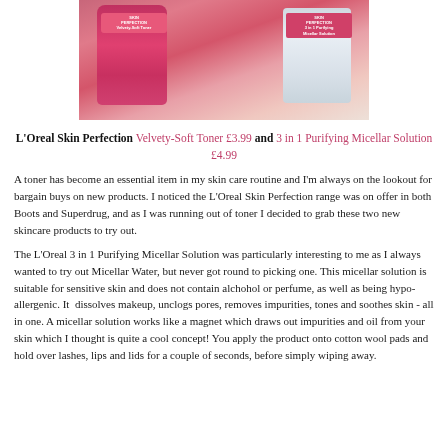[Figure (photo): Two L'Oreal Skin Perfection products photographed together: a pink/red Velvety-Soft Toner bottle on the left and a clear/white 3 in 1 Purifying Micellar Solution bottle on the right, placed on a cream-colored fabric background.]
L'Oreal Skin Perfection Velvety-Soft Toner £3.99 and 3 in 1 Purifying Micellar Solution £4.99
A toner has become an essential item in my skin care routine and I'm always on the lookout for bargain buys on new products. I noticed the L'Oreal Skin Perfection range was on offer in both Boots and Superdrug, and as I was running out of toner I decided to grab these two new skincare products to try out.
The L'Oreal 3 in 1 Purifying Micellar Solution was particularly interesting to me as I always wanted to try out Micellar Water, but never got round to picking one. This micellar solution is suitable for sensitive skin and does not contain alchohol or perfume, as well as being hypo-allergenic. It  dissolves makeup, unclogs pores, removes impurities, tones and soothes skin - all in one. A micellar solution works like a magnet which draws out impurities and oil from your skin which I thought is quite a cool concept! You apply the product onto cotton wool pads and hold over lashes, lips and lids for a couple of seconds, before simply wiping away.